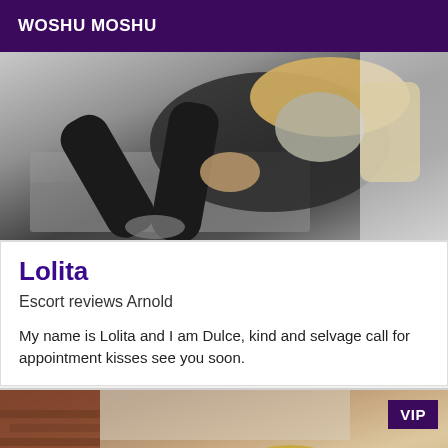WOSHU MOSHU
[Figure (photo): A person wearing black clothing seated on the floor, viewed from above, with blonde hair and a grey face covering, holding their hands together.]
Lolita
Escort reviews Arnold
My name is Lolita and I am Dulce, kind and selvage call for appointment kisses see you soon.
[Figure (photo): A person with short blonde hair seen from below, sitting near a brick wall, with a VIP badge overlay in the top-right corner.]